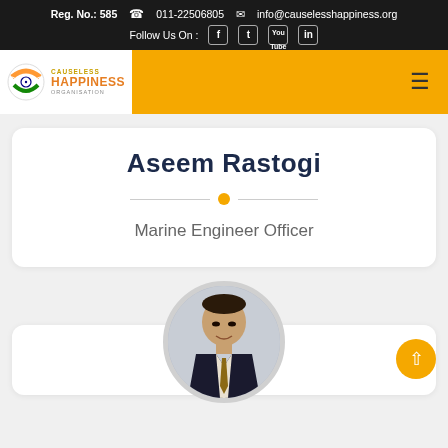Reg. No.: 585  011-22506805  info@causelesshappiness.org  Follow Us On : [social icons]
[Figure (logo): Causeless Happiness Organisation logo with Indian flag-colored circular emblem and navigation bar]
Aseem Rastogi
Marine Engineer Officer
[Figure (photo): Circular portrait photo of Aseem Rastogi, a man in dark suit and tie]